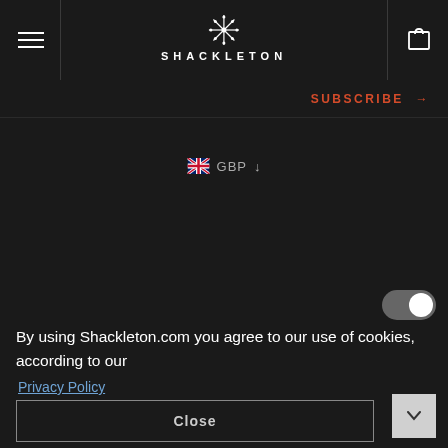SHACKLETON
SUBSCRIBE →
🇬🇧 GBP ↓
By using Shackleton.com you agree to our use of cookies, according to our
Privacy Policy
Close